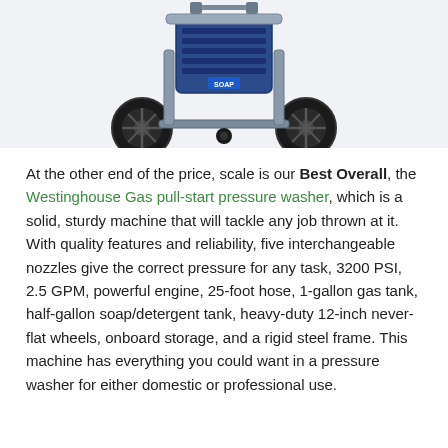[Figure (photo): Partial view of a Westinghouse gas pull-start pressure washer, showing the upper portion with blue engine, steel frame, large black wheels, and a blue soap nozzle label.]
At the other end of the price, scale is our Best Overall, the Westinghouse Gas pull-start pressure washer, which is a solid, sturdy machine that will tackle any job thrown at it. With quality features and reliability, five interchangeable nozzles give the correct pressure for any task, 3200 PSI, 2.5 GPM, powerful engine, 25-foot hose, 1-gallon gas tank, half-gallon soap/detergent tank, heavy-duty 12-inch never-flat wheels, onboard storage, and a rigid steel frame. This machine has everything you could want in a pressure washer for either domestic or professional use.